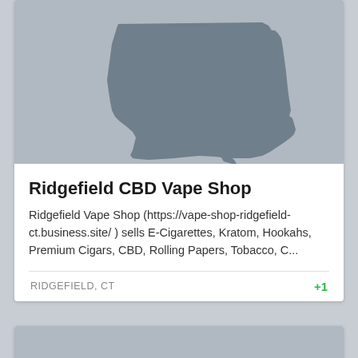[Figure (illustration): Connecticut state silhouette on gray background]
Ridgefield CBD Vape Shop
Ridgefield Vape Shop (https://vape-shop-ridgefield-ct.business.site/ ) sells E-Cigarettes, Kratom, Hookahs, Premium Cigars, CBD, Rolling Papers, Tobacco, C...
RIDGEFIELD, CT
+1
[Figure (illustration): Colorado state silhouette on gray background (partially visible)]